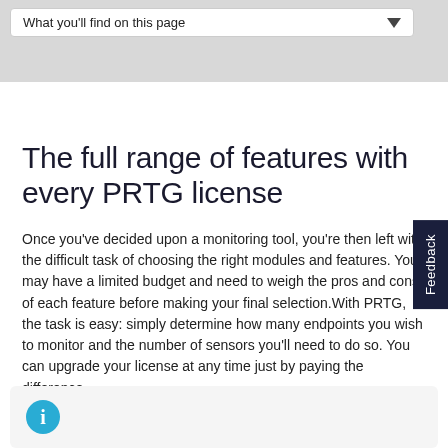What you'll find on this page
The full range of features with every PRTG license
Once you've decided upon a monitoring tool, you're then left with the difficult task of choosing the right modules and features. You may have a limited budget and need to weigh the pros and cons of each feature before making your final selection. With PRTG, the task is easy: simply determine how many endpoints you wish to monitor and the number of sensors you'll need to do so. You can upgrade your license at any time just by paying the difference.